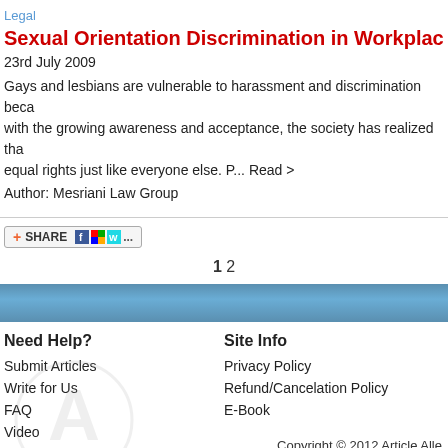Legal
Sexual Orientation Discrimination in Workplace: What You...
23rd July 2009
Gays and lesbians are vulnerable to harassment and discrimination beca... with the growing awareness and acceptance, the society has realized tha... equal rights just like everyone else. P... Read >
Author: Mesriani Law Group
1 2
Need Help?
Submit Articles
Write for Us
FAQ
Video
Site Info
Privacy Policy
Refund/Cancelation Policy
E-Book
Copyright © 2012 Article Alle... Other product and company names s... © Oyster Interne...